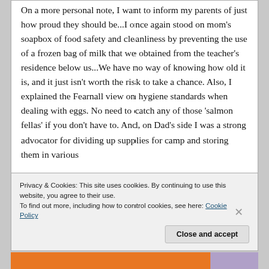On a more personal note, I want to inform my parents of just how proud they should be...I once again stood on mom's soapbox of food safety and cleanliness by preventing the use of a frozen bag of milk that we obtained from the teacher's residence below us...We have no way of knowing how old it is, and it just isn't worth the risk to take a chance. Also, I explained the Fearnall view on hygiene standards when dealing with eggs. No need to catch any of those 'salmon fellas' if you don't have to. And, on Dad's side I was a strong advocator for dividing up supplies for camp and storing them in various
Privacy & Cookies: This site uses cookies. By continuing to use this website, you agree to their use.
To find out more, including how to control cookies, see here: Cookie Policy